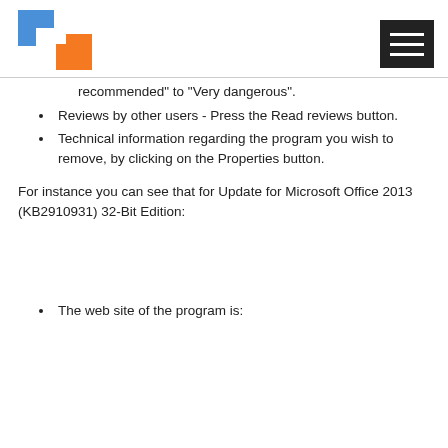[logo and hamburger menu]
recommended" to "Very dangerous".
Reviews by other users - Press the Read reviews button.
Technical information regarding the program you wish to remove, by clicking on the Properties button.
For instance you can see that for Update for Microsoft Office 2013 (KB2910931) 32-Bit Edition:
The web site of the program is: